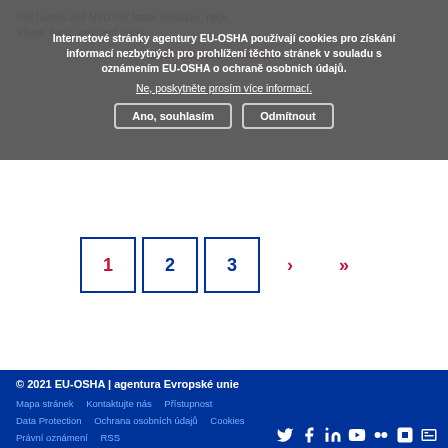Internetové stránky agentury EU-OSHA používají cookies pro získání informací nezbytných pro prohlížení těchto stránek v souladu s oznámením EU-OSHA o ochraně osobních údajů.
Ne, poskytněte prosím více informací.
Zobrazit více informací →
Ano, souhlasím    Odmítnout
risk factors and MSD risk factor (shoulder, neck, elbow, hand, wrist and back)
1  2  3  ›  »
© 2021 EU-OSHA | agentura Evropské unie
Mapa stránek  Kontaktujte nás  Přístupnost
Data Protection  Ochrana osobních údajů  Cookies
Právní oznámení  RSS